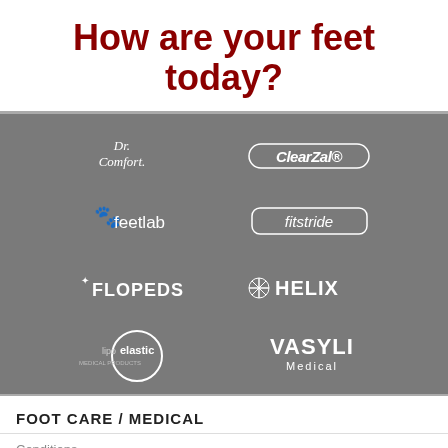How are your feet today?
[Figure (logo): Brand logos grid on grey background: Dr. Comfort, ClearZal, feetlab, fitstride, FLOPEDS, HELIX, lipoelastic, VASYLI Medical]
FOOT CARE / MEDICAL
Conditions
Clinics